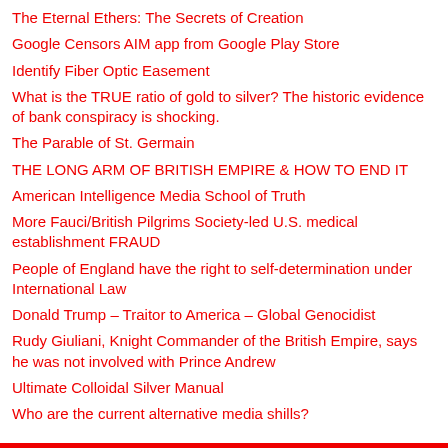The Eternal Ethers: The Secrets of Creation
Google Censors AIM app from Google Play Store
Identify Fiber Optic Easement
What is the TRUE ratio of gold to silver? The historic evidence of bank conspiracy is shocking.
The Parable of St. Germain
THE LONG ARM OF BRITISH EMPIRE & HOW TO END IT
American Intelligence Media School of Truth
More Fauci/British Pilgrims Society-led U.S. medical establishment FRAUD
People of England have the right to self-determination under International Law
Donald Trump – Traitor to America – Global Genocidist
Rudy Giuliani, Knight Commander of the British Empire, says he was not involved with Prince Andrew
Ultimate Colloidal Silver Manual
Who are the current alternative media shills?